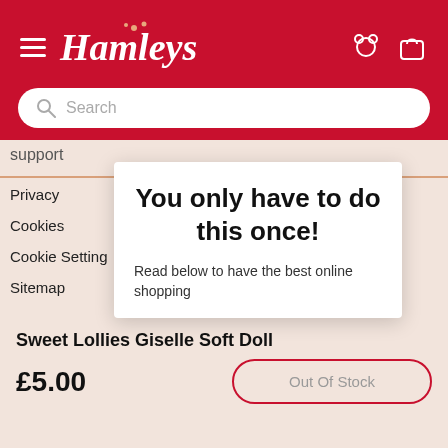[Figure (logo): Hamleys logo in white italic script on red background with small star decorations]
Search
support
Privacy
Cookies
Cookie Setting
Sitemap
You only have to do this once!
Read below to have the best online shopping
Sweet Lollies Giselle Soft Doll
£5.00
Out Of Stock